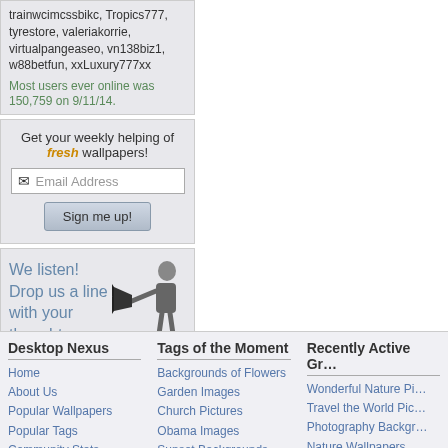trainwcimcssbikc, Tropics777, tyrestore, valeriakorrie, virtualpangeaseo, vn138biz1, w88betfun, xxLuxury777xx
Most users ever online was 150,759 on 9/11/14.
Get your weekly helping of fresh wallpapers!
Email Address
Sign me up!
We listen! Drop us a line with your thoughts, comments, or feedback!
Support This Site
Desktop Nexus
Home
About Us
Popular Wallpapers
Popular Tags
Community Stats
Tags of the Moment
Backgrounds of Flowers
Garden Images
Church Pictures
Obama Images
Sunset Backgrounds
Recently Active Gr…
Wonderful Nature Pi…
Travel the World Pic…
Photography Backgr…
Nature Wallpapers
1920x1080 or High…